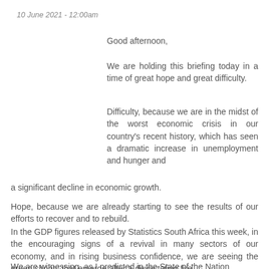10 June 2021 - 12:00am
Good afternoon,
We are holding this briefing today in a time of great hope and great difficulty.
Difficulty, because we are in the midst of the worst economic crisis in our country's recent history, which has seen a dramatic increase in unemployment and hunger and a significant decline in economic growth.
Hope, because we are already starting to see the results of our efforts to recover and to rebuild.
In the GDP figures released by Statistics South Africa this week, in the encouraging signs of a revival in many sectors of our economy, and in rising business confidence, we are seeing the green shoots that emerge after a devastating fire.
We are witnessing, as I predicted in the State of the Nation